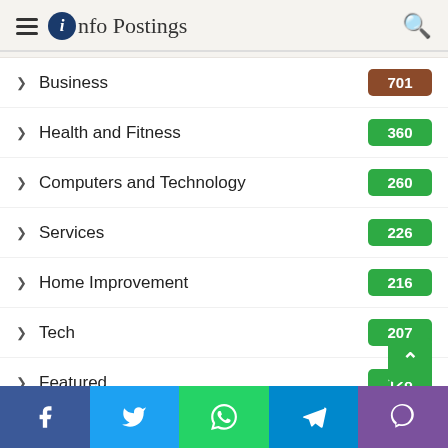Info Postings
Business 701
Health and Fitness 360
Computers and Technology 260
Services 226
Home Improvement 216
Tech 207
Featured 128
Animals 121
Lifestyle 119
Fashion
Facebook Twitter WhatsApp Telegram Viber